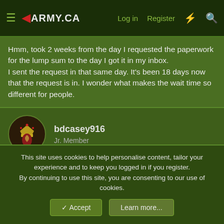≡ ◄ARMY.CA   Log in   Register   ⚡   🔍
Hmm, took 2 weeks from the day I requested the paperwork for the lump sum to the day I got it in my inbox.
I sent the request in that same day. It's been 18 days now that the request is in. I wonder what makes the wait time so different for people.
bdcasey916
Jr. Member
5 Nov 2019   #389
I agree, it does not make sense for the wait times. I was notified of my award decision on Oct 18, which I figured out was
This site uses cookies to help personalise content, tailor your experience and to keep you logged in if you register.
By continuing to use this site, you are consenting to our use of cookies.